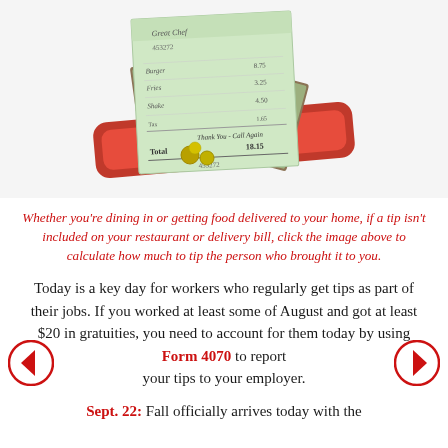[Figure (photo): Photo of a restaurant check/bill on a red tray with cash money (dollar bills and coins) on top of it]
Whether you're dining in or getting food delivered to your home, if a tip isn't included on your restaurant or delivery bill, click the image above to calculate how much to tip the person who brought it to you.
Today is a key day for workers who regularly get tips as part of their jobs. If you worked at least some of August and got at least $20 in gratuities, you need to account for them today by using Form 4070 to report your tips to your employer.
Sept. 22: Fall officially arrives today with the